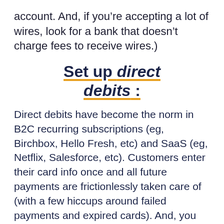account. And, if you’re accepting a lot of wires, look for a bank that doesn’t charge fees to receive wires.)
Set up direct debits :
Direct debits have become the norm in B2C recurring subscriptions (eg, Birchbox, Hello Fresh, etc) and SaaS (eg, Netflix, Salesforce, etc). Customers enter their card info once and all future payments are frictionlessly taken care of (with a few hiccups around failed payments and expired cards). And, you can do the same thing with recurring client work. Most modern invoicing software